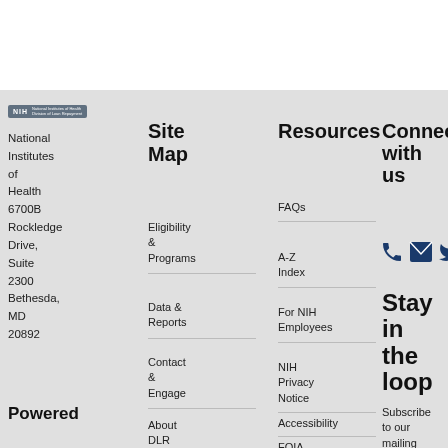[Figure (logo): NIH National Institutes of Health logo]
National Institutes of Health 6700B Rockledge Drive, Suite 2300 Bethesda, MD 20892
Powered
Site Map
Eligibility & Programs
Data & Reports
Contact & Engage
About DLR
Resources
FAQs
A-Z Index
For NIH Employees
NIH Privacy Notice
Accessibility
FOIA
Connect with us
[Figure (infographic): Phone, email, and Twitter/social media icons in dark blue]
Stay in the loop
Subscribe to our mailing